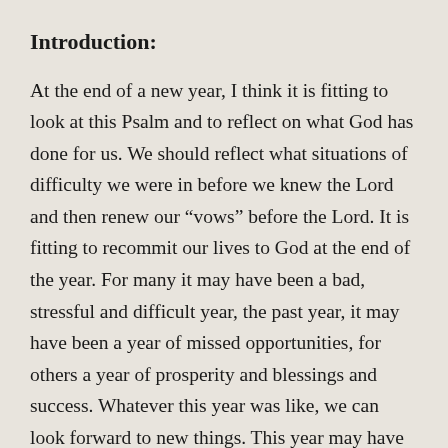Introduction:
At the end of a new year, I think it is fitting to look at this Psalm and to reflect on what God has done for us. We should reflect what situations of difficulty we were in before we knew the Lord and then renew our “vows” before the Lord. It is fitting to recommit our lives to God at the end of the year. For many it may have been a bad, stressful and difficult year, the past year, it may have been a year of missed opportunities, for others a year of prosperity and blessings and success. Whatever this year was like, we can look forward to new things. This year may have been a year where you have backslidden into sins you thought you’ve had victory over or it may